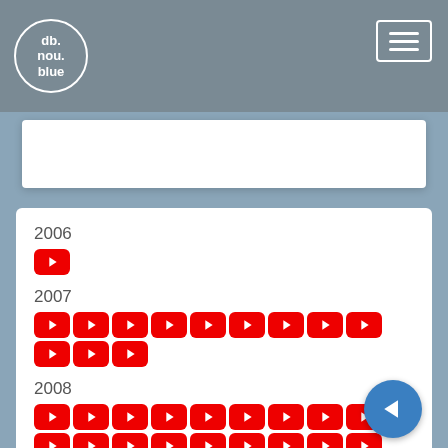db.nou.blue navigation header with logo and menu icon
[Figure (screenshot): Website screenshot showing YouTube video links organized by year: 2006 (1 video), 2007 (12 videos), 2008 (25 videos), 2009 (12 videos), 2010 (17+ videos)]
2006
2007
2008
2009
2010